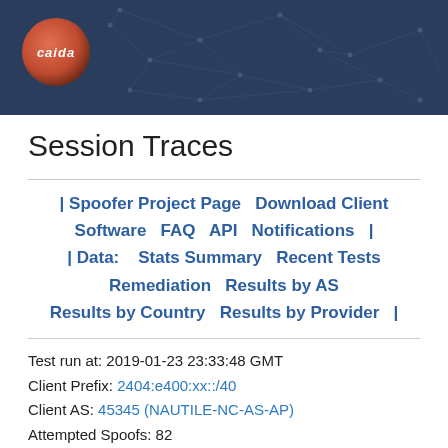[Figure (logo): CAIDA website header banner with dark navy blue background, network node graph pattern, and CAIDA circular logo in bottom-left corner]
Session Traces
| Spoofer Project Page   Download Client Software   FAQ   API   Notifications   | | Data:    Stats Summary   Recent Tests   Remediation   Results by AS   Results by Country   Results by Provider   |
Test run at: 2019-01-23 23:33:48 GMT
Client Prefix: 2404:e400:xx::/40
Client AS: 45345 (NAUTILE-NC-AS-AP)
Attempted Spoofs: 82
Your test session probed the following paths: